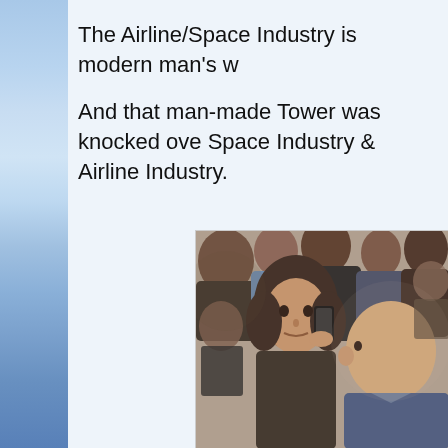The Airline/Space Industry is modern man's w
And that man-made Tower was knocked over Space Industry & Airline Industry.
[Figure (photo): A crowd of people, including a woman talking on a phone and a bald man, in a busy public setting, photo is slightly blurred/out of focus]